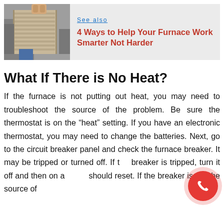[Figure (photo): A person holding a furnace air filter, with a gray background box containing a 'See also' link and article title.]
See also
4 Ways to Help Your Furnace Work Smarter Not Harder
What If There is No Heat?
If the furnace is not putting out heat, you may need to troubleshoot the source of the problem. Be sure the thermostat is on the “heat” setting. If you have an electronic thermostat, you may need to change the batteries. Next, go to the circuit breaker panel and check the furnace breaker. It may be tripped or turned off. If the breaker is tripped, turn it off and then on again, it should reset. If the breaker is not the source of